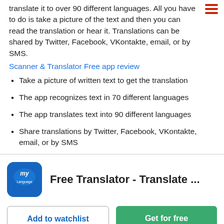translate it to over 90 different languages. All you have to do is take a picture of the text and then you can read the translation or hear it. Translations can be shared by Twitter, Facebook, VKontakte, email, or by SMS.
Scanner & Translator Free app review
Take a picture of written text to get the translation
The app recognizes text in 70 different languages
The app translates text into 90 different languages
Share translations by Twitter, Facebook, VKontakte, email, or by SMS
[Figure (logo): MyLanguage app icon — blue rounded square with 'my Language' stylized text in white]
Free Translator - Translate ...
Add to watchlist
Get for free